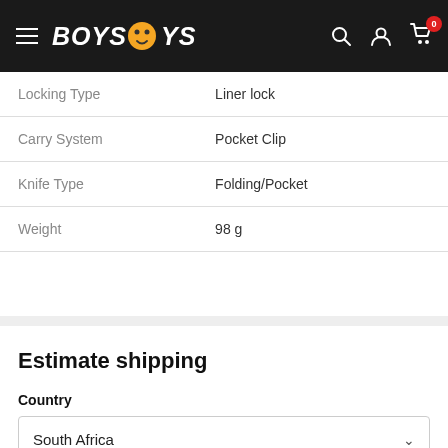Boys & Toys - navigation bar
| Attribute | Value |
| --- | --- |
| Locking Type | Liner lock |
| Carry System | Pocket Clip |
| Knife Type | Folding/Pocket |
| Weight | 98 g |
Estimate shipping
Country
South Africa
Province
Eastern Cape